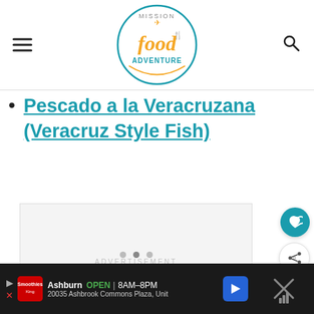Mission Food Adventure (logo)
Pescado a la Veracruzana (Veracruz Style Fish)
[Figure (other): Advertisement placeholder area with text 'ADVERTISEMENT']
[Figure (other): Bottom advertisement bar showing Smoothie King, Ashburn OPEN 8AM-8PM, 20035 Ashbrook Commons Plaza, Unit]